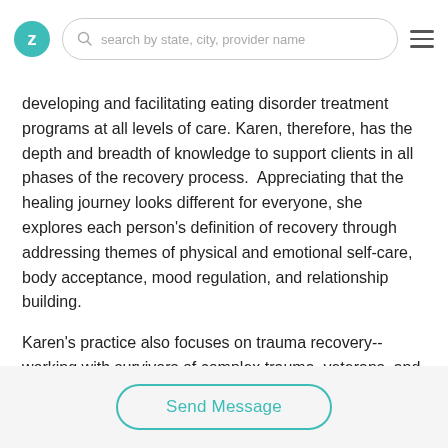Z | search by state, city, provider name
developing and facilitating eating disorder treatment programs at all levels of care. Karen, therefore, has the depth and breadth of knowledge to support clients in all phases of the recovery process.  Appreciating that the healing journey looks different for everyone, she explores each person’s definition of recovery through addressing themes of physical and emotional self-care, body acceptance, mood regulation, and relationship building.
Karen’s practice also focuses on trauma recovery--working with survivors of complex trauma, veterans, and first responders. She believes that people are fundamentally
Send Message